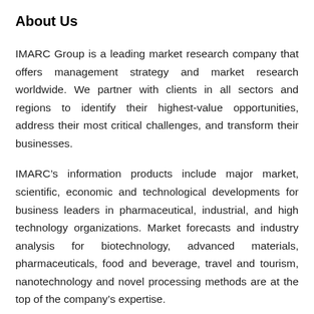About Us
IMARC Group is a leading market research company that offers management strategy and market research worldwide. We partner with clients in all sectors and regions to identify their highest-value opportunities, address their most critical challenges, and transform their businesses.
IMARC’s information products include major market, scientific, economic and technological developments for business leaders in pharmaceutical, industrial, and high technology organizations. Market forecasts and industry analysis for biotechnology, advanced materials, pharmaceuticals, food and beverage, travel and tourism, nanotechnology and novel processing methods are at the top of the company’s expertise.